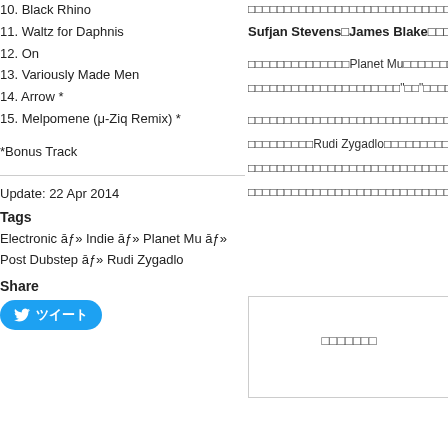10. Black Rhino
11. Waltz for Daphnis
12. On
13. Variously Made Men
14. Arrow *
15. Melpomene (μ-Ziq Remix) *
*Bonus Track
Update: 22 Apr 2014
Tags
Electronic āƒ» Indie āƒ» Planet Mu āƒ» Post Dubstep āƒ» Rudi Zygadlo
Share
ツイート
□□□□□□□□□□□□□□□□□□□□□□□□□□□□□□□□□□□□□□□□□□□□□□
Sufjan Stevens□James Blake□□□□□□□
□□□□□□□□□□□□□□Planet Mu□□□□□□□□□□□□□
□□□□□□□□□□□□□□□□□□□□□"□□"□□□□□□□□□□□
□□□□□□□□□□□□□□□□□□□□□□□□□□□□□□□□□□□□□□□□□□□□□□
□□□□□□□□□Rudi Zygadlo□□□□□□□□□□□□□□□
□□□□□□□□□□□□□□□□□□□□□□□□□□□□□□□□□□□□□□□□□□□□□□
□□□□□□□□□□□□□□□□□□□□□□□□□□□□□□□□□ □□□□□□□
□□□□□□□